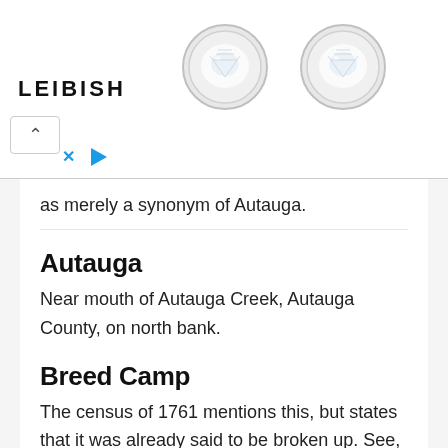[Figure (advertisement): Leibish jewelry advertisement banner with two diamond stud earrings, close-up button, and play button controls]
as merely a synonym of Autauga.
Autauga
Near mouth of Autauga Creek, Autauga County, on north bank.
Breed Camp
The census of 1761 mentions this, but states that it was already said to be broken up. See, however, note 1 on page 418.
Chananagi (Chunnenuggee),